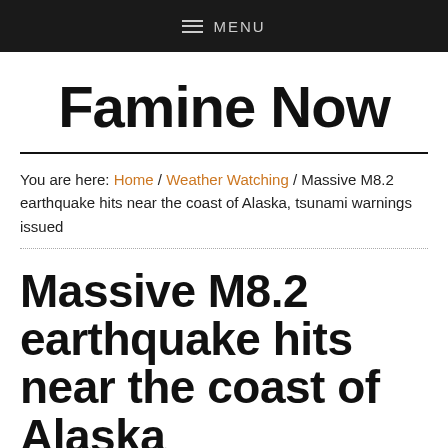≡ MENU
Famine Now
You are here: Home / Weather Watching / Massive M8.2 earthquake hits near the coast of Alaska, tsunami warnings issued
Massive M8.2 earthquake hits near the coast of Alaska